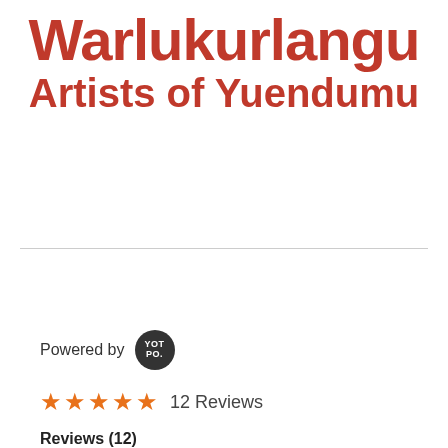Warlukurlangu Artists of Yuendumu
Powered by YOTPO.
★★★★★ 12 Reviews
Reviews (12)